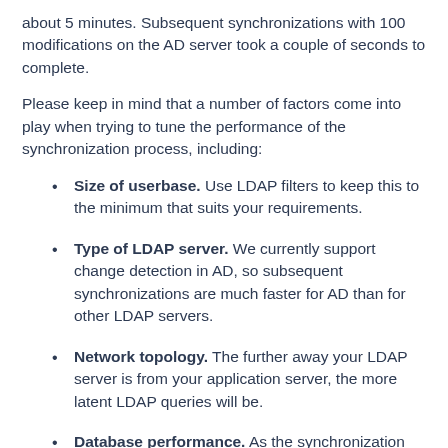about 5 minutes. Subsequent synchronizations with 100 modifications on the AD server took a couple of seconds to complete.
Please keep in mind that a number of factors come into play when trying to tune the performance of the synchronization process, including:
Size of userbase. Use LDAP filters to keep this to the minimum that suits your requirements.
Type of LDAP server. We currently support change detection in AD, so subsequent synchronizations are much faster for AD than for other LDAP servers.
Network topology. The further away your LDAP server is from your application server, the more latent LDAP queries will be.
Database performance. As the synchronization process caches data in the database, the performance of your...